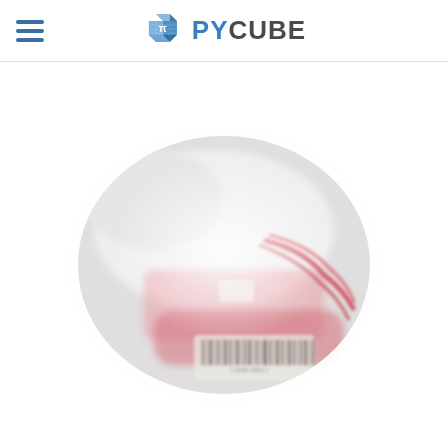[Figure (logo): PyCube logo: a blue 3D cube icon with pi symbol, next to the text PYCUBE in blue and dark gray]
[Figure (photo): A blurry oval-cropped photo of electronics components, possibly batteries or wiring, with red wires and a barcode label visible, on a white background]